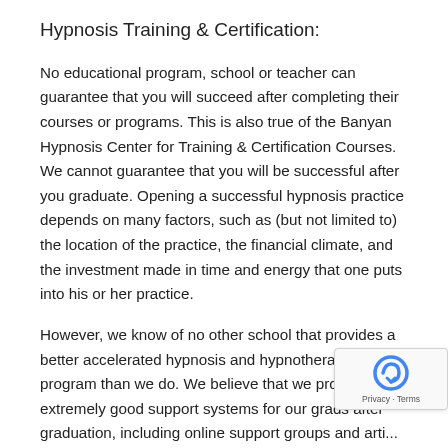Hypnosis Training & Certification:
No educational program, school or teacher can guarantee that you will succeed after completing their courses or programs. This is also true of the Banyan Hypnosis Center for Training & Certification Courses. We cannot guarantee that you will be successful after you graduate. Opening a successful hypnosis practice depends on many factors, such as (but not limited to) the location of the practice, the financial climate, and the investment made in time and energy that one puts into his or her practice.
However, we know of no other school that provides a better accelerated hypnosis and hypnotherapy training program than we do. We believe that we provide extremely good support systems for our grads after graduation, including online support groups and arti... Also, you can receive ongoing support via email and...